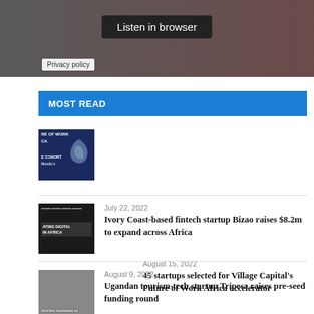[Figure (screenshot): Audio player banner with dark grey/brown gradient background and 'Listen in browser' button]
Privacy policy
MOST READ
[Figure (photo): Thumbnail for Village Capital Future of Work Africa article, dark blue background with Africa continent map graphic]
August 15, 2022
45 startups selected for Village Capital's Future of Work Africa accelerator
[Figure (photo): Thumbnail for Bizao fintech article, dark background with text 'RATING DIGITAL IN AFRICA']
July 22, 2022
Ivory Coast-based fintech startup Bizao raises $8.2m to expand across Africa
[Figure (photo): Thumbnail for Tripesa article, showing a person, text 'tourism business on']
August 9, 2022
Ugandan tourism-tech startup Tripesa raises pre-seed funding round